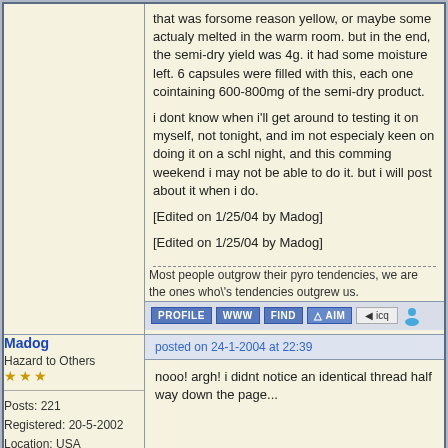that was forsome reason yellow, or maybe some actualy melted in the warm room. but in the end, the semi-dry yield was 4g. it had some moisture left. 6 capsules were filled with this, each one cointaining 600-800mg of the semi-dry product.

i dont know when i'll get around to testing it on myself, not tonight, and im not especialy keen on doing it on a schl night, and this comming weekend i may not be able to do it. but i will post about it when i do.

[Edited on 1/25/04 by Madog]

[Edited on 1/25/04 by Madog]
Most people outgrow their pyro tendencies, we are the ones who\'s tendencies outgrew us.
posted on 24-1-2004 at 22:39
Madog
Hazard to Others
***
Posts: 221
Registered: 20-5-2002
Location: USA
nooo! argh! i didnt notice an identical thread half way down the page...